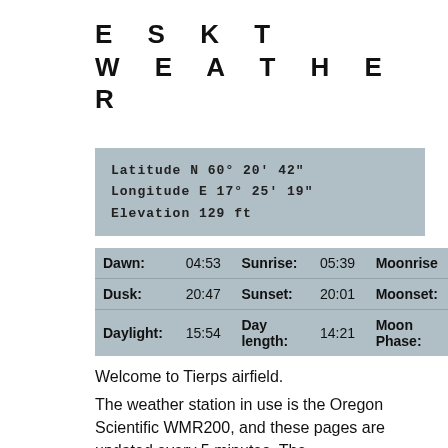ESKT WEATHER
Latitude N 60° 20' 42"
Longitude E 17° 25' 19"
Elevation 129 ft
| Label | Value | Label | Value | Label |
| --- | --- | --- | --- | --- |
| Dawn: | 04:53 | Sunrise: | 05:39 | Moonrise |
| Dusk: | 20:47 | Sunset: | 20:01 | Moonset: |
| Daylight: | 15:54 | Day length: | 14:21 | Moon Phase: |
Welcome to Tierps airfield.
The weather station in use is the Oregon Scientific WMR200, and these pages are updated every 5 minutes. The meteorological day used at this station ends at midnight.